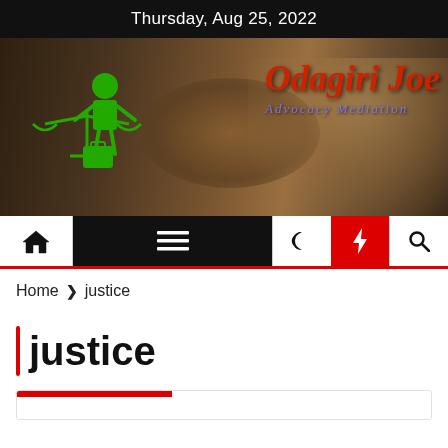Thursday, Aug 25, 2022
[Figure (logo): Odagiri Joe Advocacy Mediation website banner with gavel background, green scales of justice and person icon, red italic site title and blue italic subtitle]
Home > justice
justice